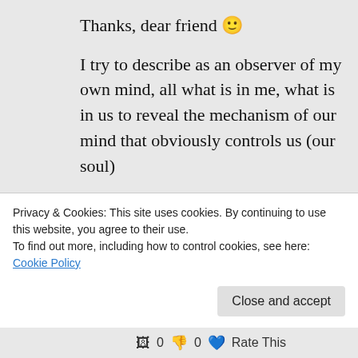Thanks, dear friend 🙂
I try to describe as an observer of my own mind, all what is in me, what is in us to reveal the mechanism of our mind that obviously controls us (our soul)
Have a great day
Didi
★ Liked by 3 people
Log in to Reply
Privacy & Cookies: This site uses cookies. By continuing to use this website, you agree to their use.
To find out more, including how to control cookies, see here: Cookie Policy
Close and accept
0  0  Rate This